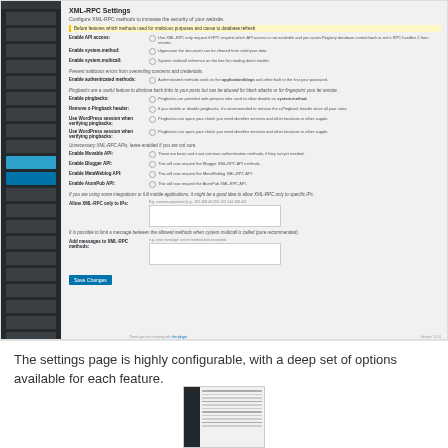[Figure (screenshot): WordPress admin settings page showing XML-RPC Settings configuration with sidebar navigation and multiple setting rows including Enable API access, Enable system.method, Enable system.multicall, Enable authenticated methods, Enable pingbacks, Remove x-Pingback header, Use WordPress session when verifying pingbacks (two rows), Enable Movable Type API, Enable Blogger API, Enable MetaWeblog API, Enable AtomPub API, Allow XML-RPC only to specific IPs textarea, Add messages to XML-RPC methods textarea, and Save Changes button]
The settings page is highly configurable, with a deep set of options available for each feature.
[Figure (screenshot): Small thumbnail screenshot of another WordPress admin settings page with dark sidebar]